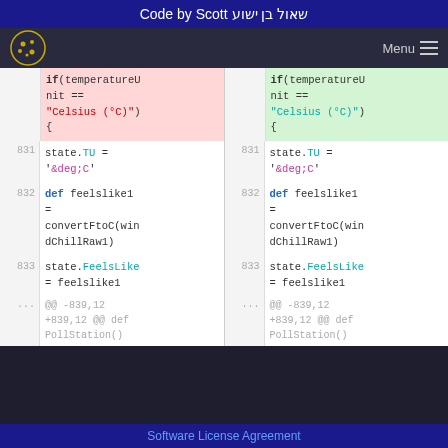Code by Scott שאול בן ישוע
[Figure (screenshot): Navigation bar with cookie logo and Menu button]
Diff view showing two columns of code. Left (pink header): if(temperatureUnit == "Celsius (°C)") { Right (green header): if(temperatureUnit == "Celsius (°C)") { Line 831: state.TU = '&deg;C' Line 832: def feelslike1 = convertFtoC(windChillRaw1) Line 833: state.FeelsLike = feelslike1 ... @@ -839,12 +839,12 @@ def PollStation()
Software License Agreement